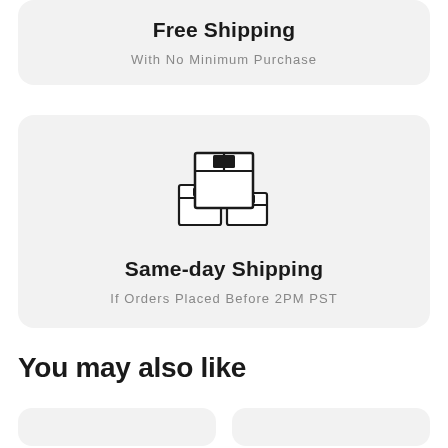Free Shipping
With No Minimum Purchase
[Figure (illustration): Stack of three shipping boxes with tape seals illustrated in line art style]
Same-day Shipping
If Orders Placed Before 2PM PST
You may also like